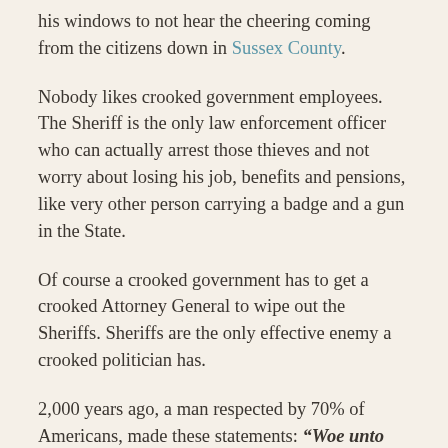his windows to not hear the cheering coming from the citizens down in Sussex County.
Nobody likes crooked government employees. The Sheriff is the only law enforcement officer who can actually arrest those thieves and not worry about losing his job, benefits and pensions, like very other person carrying a badge and a gun in the State.
Of course a crooked government has to get a crooked Attorney General to wipe out the Sheriffs. Sheriffs are the only effective enemy a crooked politician has.
2,000 years ago, a man respected by 70% of Americans, made these statements: “Woe unto you also, ye lawyers! for ye lade men with burdens grievous to be borne, and ye yourselves touch not the burdens with